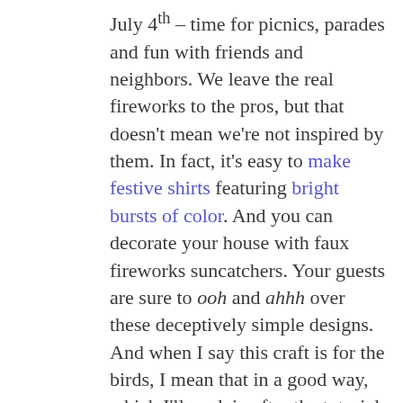July 4th – time for picnics, parades and fun with friends and neighbors. We leave the real fireworks to the pros, but that doesn't mean we're not inspired by them. In fact, it's easy to make festive shirts featuring bright bursts of color. And you can decorate your house with faux fireworks suncatchers. Your guests are sure to ooh and ahhh over these deceptively simple designs. And when I say this craft is for the birds, I mean that in a good way, which I'll explain after the tutorial. Get ready to create an entire display of faux fireworks on your favorite window with these easy DIY suncatchers that also work as window clings.

This is the second activity I'm sharing as